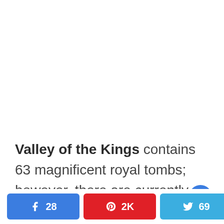Valley of the Kings contains 63 magnificent royal tombs; however, there are currently only eight tombs available for viewing and two of
[Figure (other): Heart/love button (blue circle with white heart icon) positioned at right side]
[Figure (other): Social share bar with Facebook (28), Pinterest (2K), Twitter (69) buttons and share count 31 SHARES]